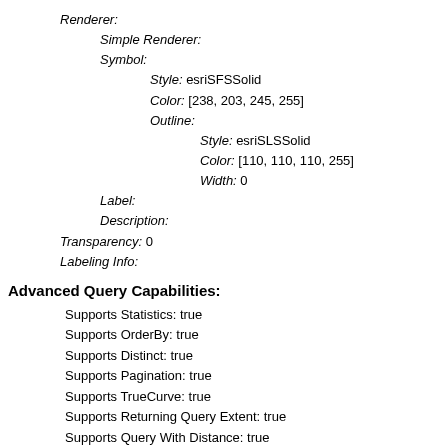Renderer:
Simple Renderer:
Symbol:
Style: esriSFSSolid
Color: [238, 203, 245, 255]
Outline:
Style: esriSLSSolid
Color: [110, 110, 110, 255]
Width: 0
Label:
Description:
Transparency: 0
Labeling Info:
Advanced Query Capabilities:
Supports Statistics: true
Supports OrderBy: true
Supports Distinct: true
Supports Pagination: true
Supports TrueCurve: true
Supports Returning Query Extent: true
Supports Query With Distance: true
Supports Sql Expression: true
Supports Query With ResultType: false
Supports Returning Geometry Centroid: false
Supports Binning LOD: false
Supports Query With LOD Spatial Reference: false